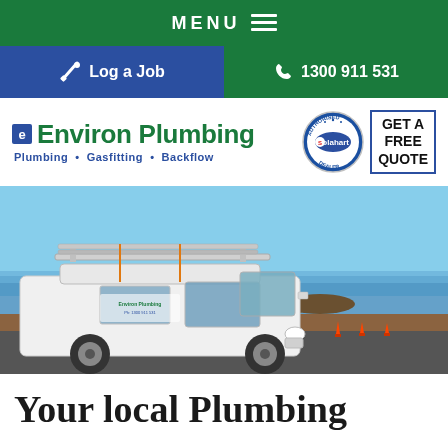MENU ≡
🔧 Log a Job
📞 1300 911 531
eEnviron Plumbing — Plumbing • Gasfitting • Backflow
[Figure (logo): Solahart Authorised Dealer badge with GET A FREE QUOTE text]
[Figure (photo): White Environ Plumbing van with pipe rack on roof parked near ocean coastline with blue sky]
Your local Plumbing